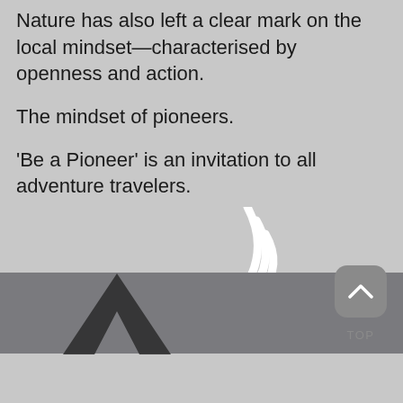Nature has also left a clear mark on the local mindset—characterised by openness and action.
The mindset of pioneers.
'Be a Pioneer' is an invitation to all adventure travelers.
[Figure (illustration): White curved signal/wifi-like arc lines icon on grey background]
[Figure (photo): Dark strip photo at bottom with an arrow/navigation graphic overlaid, with a rounded square button with upward arrow and 'TOP' label]
TOP